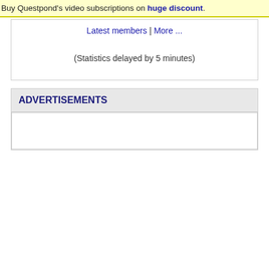Buy Questpond's video subscriptions on huge discount.
Latest members | More ...
(Statistics delayed by 5 minutes)
ADVERTISEMENTS